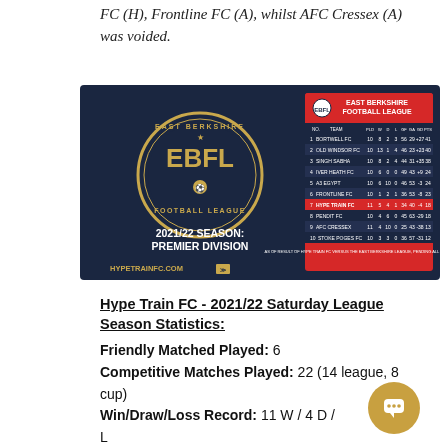FC (H), Frontline FC (A), whilst AFC Cressex (A) was voided.
[Figure (infographic): East Berkshire Football League graphic showing the EBFL logo with '2021/22 Season: Premier Division' text and a league table on the right side, with 'hypetrainfc.com' at the bottom left.]
Hype Train FC - 2021/22 Saturday League Season Statistics:
Friendly Matched Played: 6
Competitive Matches Played: 22 (14 league, 8 cup)
Win/Draw/Loss Record: 11 W / 4 D / L